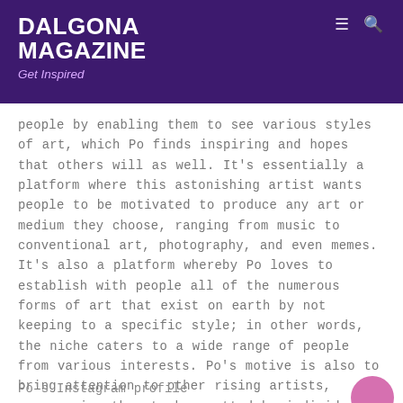DALGONA MAGAZINE
Get Inspired
people by enabling them to see various styles of art, which Po finds inspiring and hopes that others will as well. It's essentially a platform where this astonishing artist wants people to be motivated to produce any art or medium they choose, ranging from music to conventional art, photography, and even memes. It's also a platform whereby Po loves to establish with people all of the numerous forms of art that exist on earth by not keeping to a specific style; in other words, the niche caters to a wide range of people from various interests. Po's motive is also to bring attention to other rising artists, encouraging them to be spotted by individuals from all around the globe, even if they are underground, small, or well-known.
Po's Instagram profile